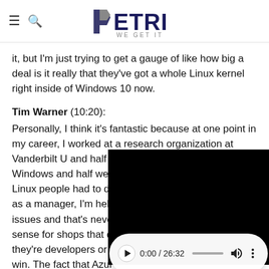PETRI WE GET IT
it, but I'm just trying to get a gauge of like how big a deal is it really that they've got a whole Linux kernel right inside of Windows 10 now.
Tim Warner (10:20): Personally, I think it's fantastic because at one point in my career, I worked at a research organization at Vanderbilt U and half the people were committed to Windows and half were committed to Linux. And the Linux people had to d... as a manager, I'm hel... issues and that's neve... sense for shops that d... they're developers or... win. The fact that Azu... Microsoft and one of its big value propositions is
[Figure (screenshot): Embedded video player overlay showing a black video area and playback controls showing 0:00 / 26:32]